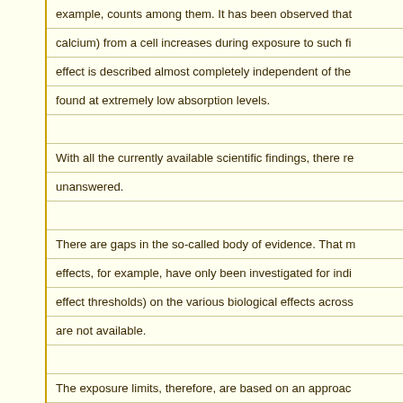example, counts among them. It has been observed that calcium) from a cell increases during exposure to such fi effect is described almost completely independent of the found at extremely low absorption levels.
With all the currently available scientific findings, there re unanswered.
There are gaps in the so-called body of evidence. That m effects, for example, have only been investigated for indi effect thresholds) on the various biological effects across are not available.
The exposure limits, therefore, are based on an approac very complex reality whose details are unfathomable. It s concrete data on possible effects of long-term exposures
Real life teaches us that it was wrong to simplify. In Germ of a direct temporal association between the start-up of t television and the occurrence of severe health symptoms
Dr. Ing. W. Volkrodt, former R&D engineer at Siemens, re electromagnetic fields for humans, animals, and plants. H policymakers who would listen to reason when he wrote